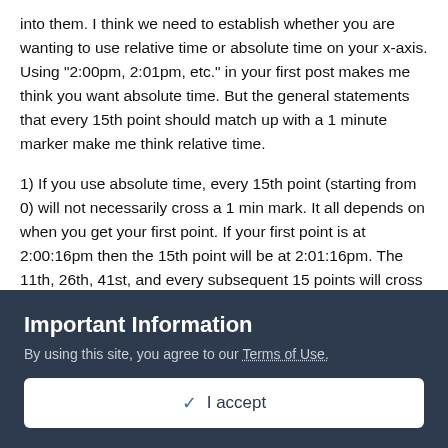into them. I think we need to establish whether you are wanting to use relative time or absolute time on your x-axis. Using "2:00pm, 2:01pm, etc." in your first post makes me think you want absolute time. But the general statements that every 15th point should match up with a 1 minute marker make me think relative time.
1) If you use absolute time, every 15th point (starting from 0) will not necessarily cross a 1 min mark. It all depends on when you get your first point. If your first point is at 2:00:16pm then the 15th point will be at 2:01:16pm. The 11th, 26th, 41st, and every subsequent 15 points will cross at 1 min marks.
2) If you use relative time, then every 15th point (0th, 15th, 30th, etc.) will fall on a minute marker, but you won't have the actual time of the point — it will just be elapsed time.
Important Information
By using this site, you agree to our Terms of Use.
✓ I accept